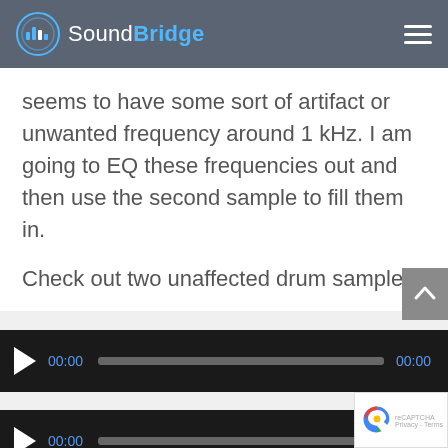SoundBridge
seems to have some sort of artifact or unwanted frequency around 1 kHz. I am going to EQ these frequencies out and then use the second sample to fill them in.
Check out two unaffected drum samples:
[Figure (other): Audio player 1 with play button, 00:00 timestamp, progress bar, and 00:00 end time on dark background]
[Figure (other): Audio player 2 with play button, 00:00 timestamp, progress bar, and 00:00 end time on dark background]